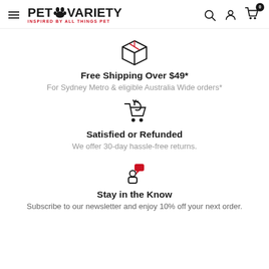PET VARIETY - INSPIRED BY ALL THINGS PET
[Figure (illustration): Box/package icon (shipping)]
Free Shipping Over $49*
For Sydney Metro & eligible Australia Wide orders*
[Figure (illustration): Shopping cart with return arrow icon]
Satisfied or Refunded
We offer 30-day hassle-free returns.
[Figure (illustration): Person with speech bubble / chat icon]
Stay in the Know
Subscribe to our newsletter and enjoy 10% off your next order.